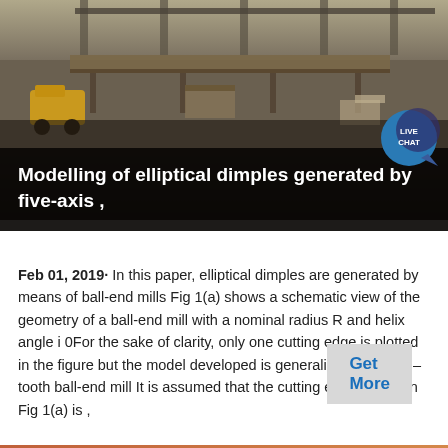[Figure (photo): Industrial facility interior showing machinery, conveyor or milling equipment on a factory floor, dark overhead structures visible]
Modelling of elliptical dimples generated by five-axis ,
Feb 01, 2019· In this paper, elliptical dimples are generated by means of ball-end mills Fig 1(a) shows a schematic view of the geometry of a ball-end mill with a nominal radius R and helix angle i 0For the sake of clarity, only one cutting edge is plotted in the figure but the model developed is generalized to an N t –tooth ball-end mill It is assumed that the cutting edge shown in Fig 1(a) is ,
Get More